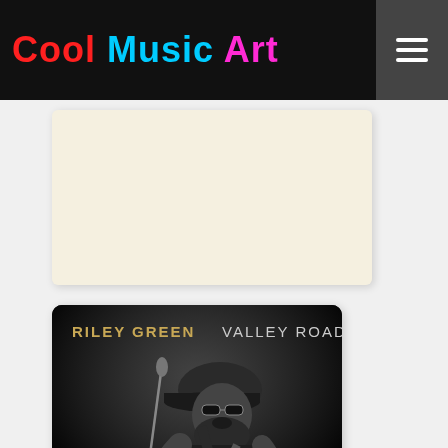Cool Music Art
[Figure (other): Advertisement placeholder box with cream/beige background]
[Figure (photo): Riley Green Valley Road album cover — black and white photo of a bearded man in a baseball cap singing into a microphone and playing guitar on stage. Text at top reads RILEY GREEN VALLEY ROAD.]
Valley Road